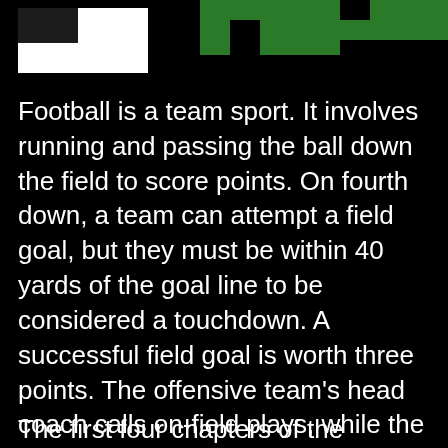[Figure (illustration): Header image with green and white geometric shapes on black background, resembling a football field pattern]
Football is a team sport. It involves running and passing the ball down the field to score points. On fourth down, a team can attempt a field goal, but they must be within 40 yards of the goal line to be considered a touchdown. A successful field goal is worth three points. The offensive team's head coach calls on-field plays, while the defensive team's captain calls defensive plays. A safety occurs when a team tackles an opponent in their own end zone, earning the team two points.
The first four chapters of the Football...